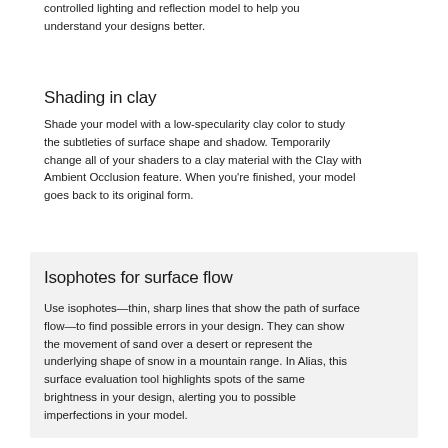controlled lighting and reflection model to help you understand your designs better.
Shading in clay
Shade your model with a low-specularity clay color to study the subtleties of surface shape and shadow. Temporarily change all of your shaders to a clay material with the Clay with Ambient Occlusion feature. When you're finished, your model goes back to its original form.
Isophotes for surface flow
Use isophotes—thin, sharp lines that show the path of surface flow—to find possible errors in your design. They can show the movement of sand over a desert or represent the underlying shape of snow in a mountain range. In Alias, this surface evaluation tool highlights spots of the same brightness in your design, alerting you to possible imperfections in your model.